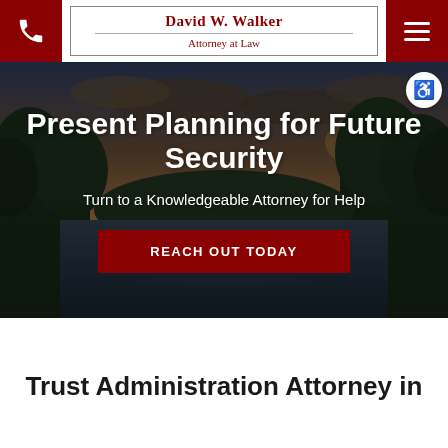David W. Walker | Attorney at Law
[Figure (screenshot): Hero section with aerial photo of a river through forested landscape at sunset, overlaid with white text and a dark red call-to-action button]
Present Planning for Future Security
Turn to a Knowledgeable Attorney for Help
REACH OUT TODAY
Trust Administration Attorney in